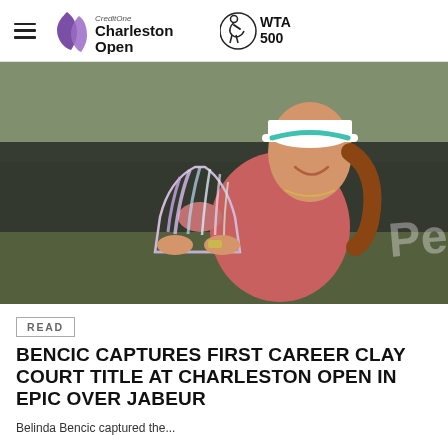Credit One Charleston Open | WTA 500
[Figure (photo): Tennis player smiling and holding a large glass crystal trophy, wearing a pink/coral Nike tennis top and white visor. Outdoor tennis court in background.]
READ
BENCIC CAPTURES FIRST CAREER CLAY COURT TITLE AT CHARLESTON OPEN IN EPIC OVER JABEUR
Belinda Bencic captured the...